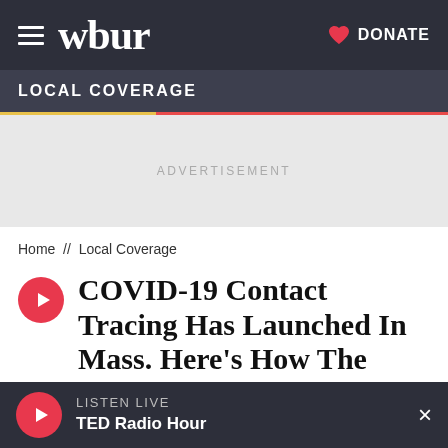wbur | DONATE
LOCAL COVERAGE
[Figure (other): Advertisement placeholder area with light gray background]
Home // Local Coverage
COVID-19 Contact Tracing Has Launched In Mass. Here's How The Effort Is Going So Far
LISTEN LIVE TED Radio Hour